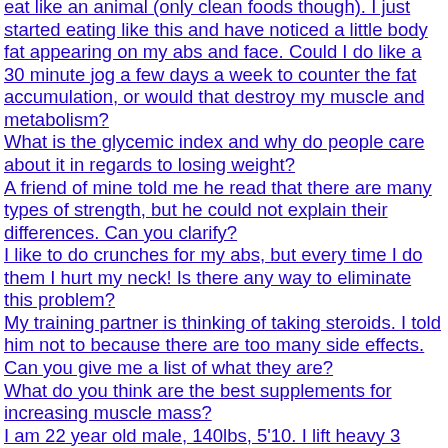eat like an animal (only clean foods though). I just started eating like this and have noticed a little body fat appearing on my abs and face. Could I do like a 30 minute jog a few days a week to counter the fat accumulation, or would that destroy my muscle and metabolism?
What is the glycemic index and why do people care about it in regards to losing weight?
A friend of mine told me he read that there are many types of strength, but he could not explain their differences. Can you clarify?
I like to do crunches for my abs, but every time I do them I hurt my neck! Is there any way to eliminate this problem?
My training partner is thinking of taking steroids. I told him not to because there are too many side effects. Can you give me a list of what they are?
What do you think are the best supplements for increasing muscle mass?
I am 22 year old male, 140lbs, 5'10. I lift heavy 3 days a week and eat like an animal (only clean foods though). I just started eating like this and have noticed a little body fat appearing on my abs and face. Could I do a 30 minute jog a few days a week to counter the fat accumulation, or would that destroy my muscle and metabolism?
I was just wondering what is the rule of thumb about creatine, how long should I stay on, and how long should I go off, and what time of day is best to take creatine. Is it during the workout or just for...